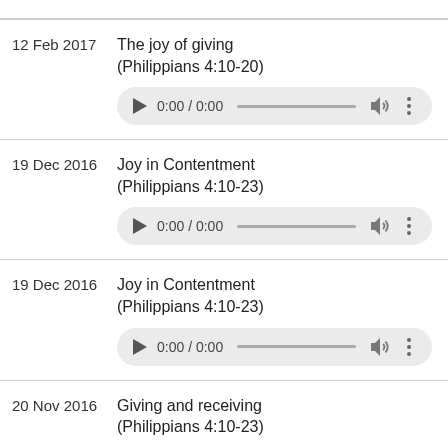12 Feb 2017 – The joy of giving (Philippians 4:10-20)
19 Dec 2016 – Joy in Contentment (Philippians 4:10-23)
19 Dec 2016 – Joy in Contentment (Philippians 4:10-23)
20 Nov 2016 – Giving and receiving (Philippians 4:10-23)